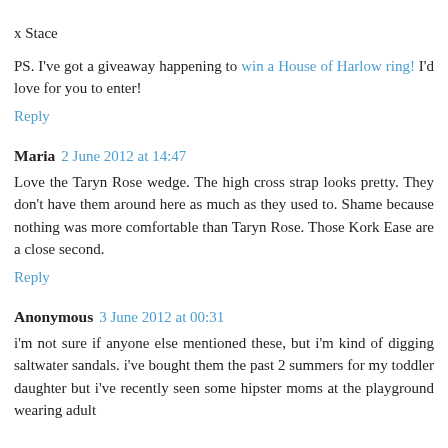x Stace
PS. I've got a giveaway happening to win a House of Harlow ring! I'd love for you to enter!
Reply
Maria 2 June 2012 at 14:47
Love the Taryn Rose wedge. The high cross strap looks pretty. They don't have them around here as much as they used to. Shame because nothing was more comfortable than Taryn Rose. Those Kork Ease are a close second.
Reply
Anonymous 3 June 2012 at 00:31
i'm not sure if anyone else mentioned these, but i'm kind of digging saltwater sandals. i've bought them the past 2 summers for my toddler daughter but i've recently seen some hipster moms at the playground wearing adult